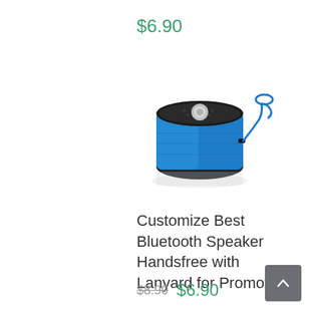$6.90
[Figure (photo): A small blue metallic Bluetooth speaker with black top and bottom, angled view, with a blue lanyard/wrist strap hanging from the side, reflected slightly on white surface.]
Customize Best Bluetooth Speaker Handsfree with Lanyard for Promotion
$8.90  $6.90